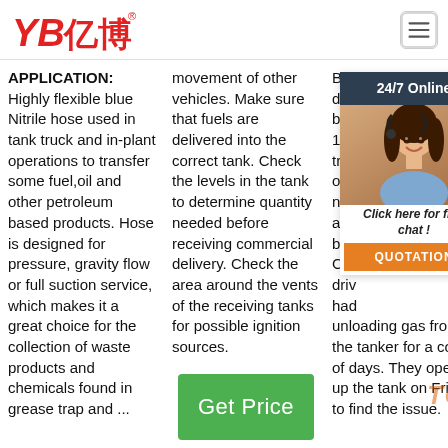[Figure (logo): YB亿博 logo in red italic with registered trademark symbol]
[Figure (other): Hamburger menu icon (three horizontal lines) in a rounded rectangle border]
APPLICATION: Highly flexible blue Nitrile hose used in tank truck and in-plant operations to transfer some fuel,oil and other petroleum based products. Hose is designed for pressure, gravity flow or full suction service, which makes it a great choice for the collection of waste products and chemicals found in grease trap and ...
movement of other vehicles. Make sure that fuels are delivered into the correct tank. Check the levels in the tank to determine quantity needed before receiving commercial delivery. Check the area around the vents of the receiving tanks for possible ignition sources.
[Figure (other): 24/7 Online chat widget showing a customer service representative with dark hair wearing a headset, with header '24/7 Online', cta text 'Click here for free chat!', and orange 'QUOTATION' button]
Bill Cheatum said two disc bet 10 a tran outs nex a cl boo Che driv had unloading gas from the tanker for a couple of days. They opened up the tank on Friday to find the issue.
[Figure (other): Green 'Get Price' button]
[Figure (other): TOP watermark in orange italic text]